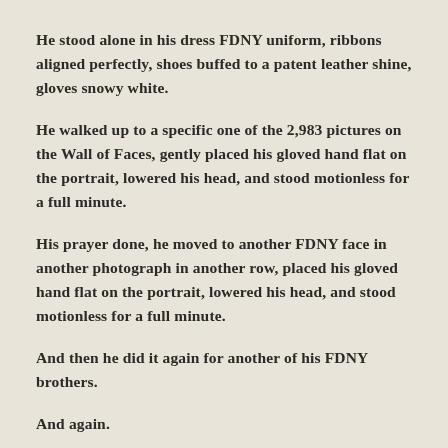He stood alone in his dress FDNY uniform, ribbons aligned perfectly, shoes buffed to a patent leather shine, gloves snowy white.
He walked up to a specific one of the 2,983 pictures on the Wall of Faces, gently placed his gloved hand flat on the portrait, lowered his head, and stood motionless for a full minute.
His prayer done, he moved to another FDNY face in another photograph in another row, placed his gloved hand flat on the portrait, lowered his head, and stood motionless for a full minute.
And then he did it again for another of his FDNY brothers.
And again.
And again.